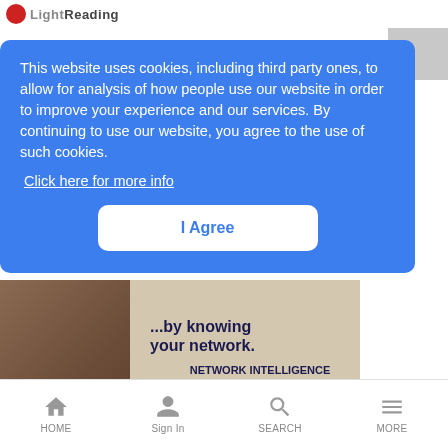LightReading
This website uses cookies, including third party ones, to allow for analysis of how people use our website in order to improve your experience and our services. By continuing to use our website, you agree to the use of such cookies.
Click here for more info
I Agree
[Figure (photo): Advertisement showing a woman with a laptop and text about network intelligence across 5G, fiber, and cloud, with tagline about knowing your network.]
HOME  Sign In  SEARCH  MORE